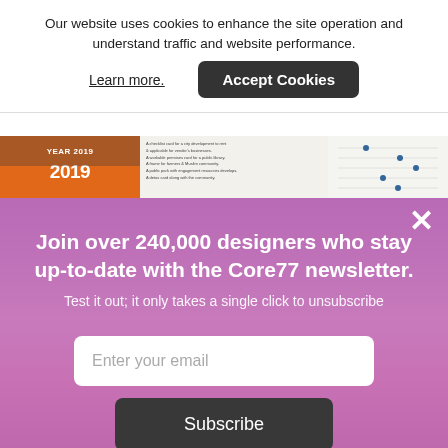Our website uses cookies to enhance the site operation and understand traffic and website performance.
Learn more.
Accept Cookies
[Figure (screenshot): Partial view of a document page showing '2019 YEAR 2019' in orange and white text, alongside text columns and a dot chart.]
×
Join over 240,000 designers who stay up-to-date with the Core77 newsletter.
Test it out; it only takes a single click to unsubscribe
Enter your email
Subscribe